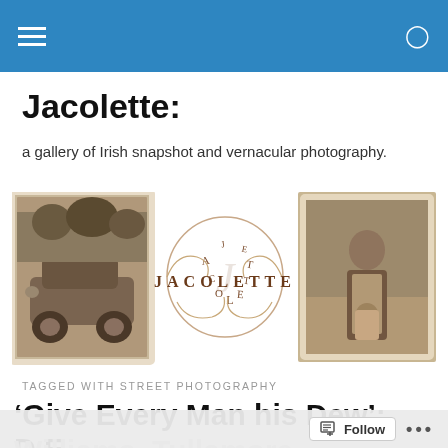Navigation bar with hamburger menu and search icon
Jacolette:
a gallery of Irish snapshot and vernacular photography.
[Figure (photo): Three banner images: a vintage car (sepia), the Jacolette decorative logo in brown script, and a sepia portrait of a woman holding a baby]
TAGGED WITH STREET PHOTOGRAPHY
‘Give Every Man his Dew’: D.E. Williams, Tullamore —...
Follow ...